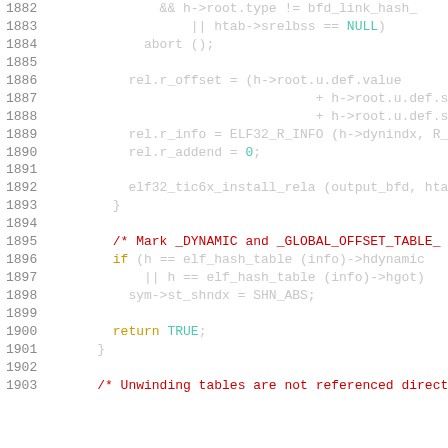Source code listing lines 1882-1903, C language, showing ELF32 relocation and dynamic symbol handling code.